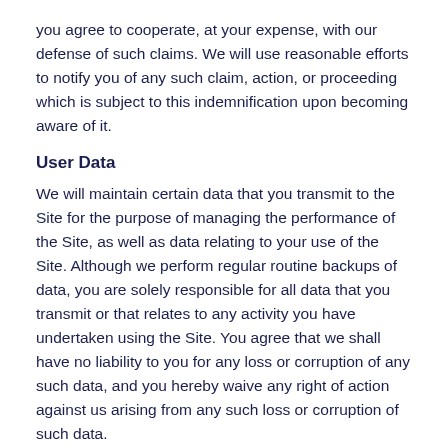you agree to cooperate, at your expense, with our defense of such claims. We will use reasonable efforts to notify you of any such claim, action, or proceeding which is subject to this indemnification upon becoming aware of it.
User Data
We will maintain certain data that you transmit to the Site for the purpose of managing the performance of the Site, as well as data relating to your use of the Site. Although we perform regular routine backups of data, you are solely responsible for all data that you transmit or that relates to any activity you have undertaken using the Site. You agree that we shall have no liability to you for any loss or corruption of any such data, and you hereby waive any right of action against us arising from any such loss or corruption of such data.
Electronic Communications, Transactions, And Signatures